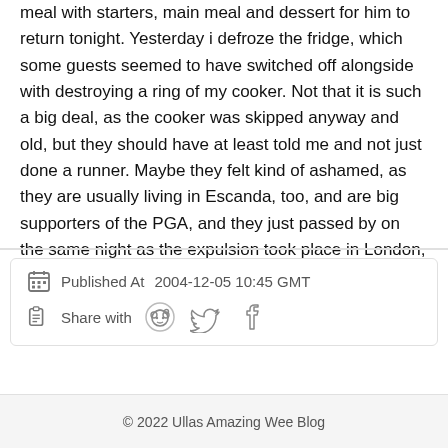meal with starters, main meal and dessert for him to return tonight. Yesterday i defroze the fridge, which some guests seemed to have switched off alongside with destroying a ring of my cooker. Not that it is such a big deal, as the cooker was skipped anyway and old, but they should have at least told me and not just done a runner. Maybe they felt kind of ashamed, as they are usually living in Escanda, too, and are big supporters of the PGA, and they just passed by on the same night as the expulsion took place in London, and it seemed they knew what was happening.
Published At  2004-12-05 10:45 GMT
Share with
© 2022 Ullas Amazing Wee Blog